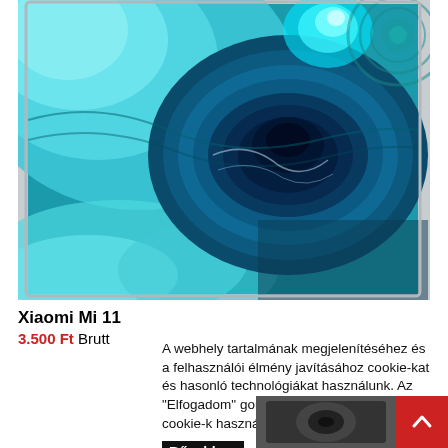[Figure (photo): Xiaomi Mi 11 smartphone product image showing a blue agate stone/mineral pattern wallpaper on the phone screen, with teal and deep blue swirling colors resembling a geode cross-section.]
Xiaomi Mi 11
3.500 Ft Brutt
A webhely tartalmának megjelenítéséhez és a felhasználói élmény javításához cookie-kat és hasonló technológiákat használunk. Az "Elfogadom" gombra kattintva elfogadja a cookie-k használatá
Bővebben  Elfogadom